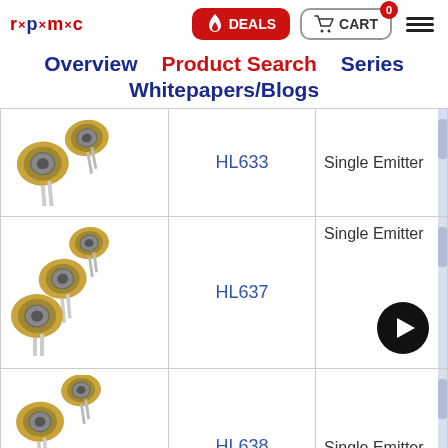[Figure (logo): RPMC Lasers logo with red dots between letters]
[Figure (screenshot): DEALS button with flame icon, red background]
[Figure (screenshot): CART button with cart icon, badge showing 0]
[Figure (screenshot): Hamburger menu icon]
Overview   Product Search   Series
Whitepapers/Blogs
| Image | Model | Type |
| --- | --- | --- |
| [laser diode image] | HL633 | Single Emitter |
| [laser diode image] | HL637 | Single Emitter |
| [laser diode image] | HL638 | Single Emitter |